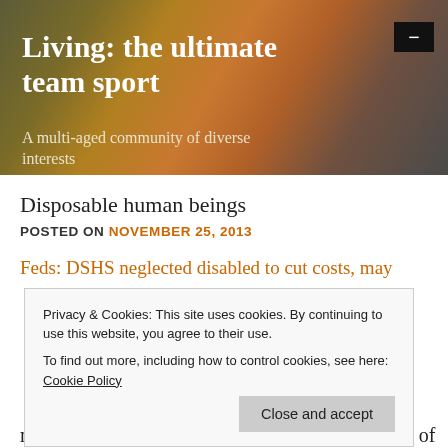[Figure (photo): Blurred bokeh background image with warm orange and brown tones forming the header banner of the blog]
Living: the ultimate team sport
A multi-aged community of diverse interests
Disposable human beings
POSTED ON NOVEMBER 25, 2013
Feds: DSHS neglected disabled to cut costs, may
Privacy & Cookies: This site uses cookies. By continuing to use this website, you agree to their use.
To find out more, including how to control cookies, see here: Cookie Policy
Close and accept
more than one million dollars and its Department of